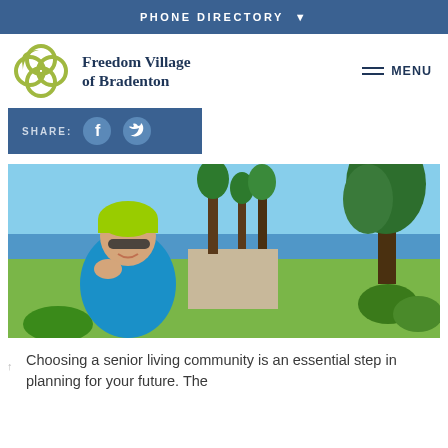PHONE DIRECTORY ▼
[Figure (logo): Freedom Village of Bradenton logo with interlocking circles emblem and serif text]
SHARE:
[Figure (photo): Senior person wearing a green bicycle helmet and sunglasses, smiling, outdoors near palm trees and a waterfront]
Choosing a senior living community is an essential step in planning for your future. The